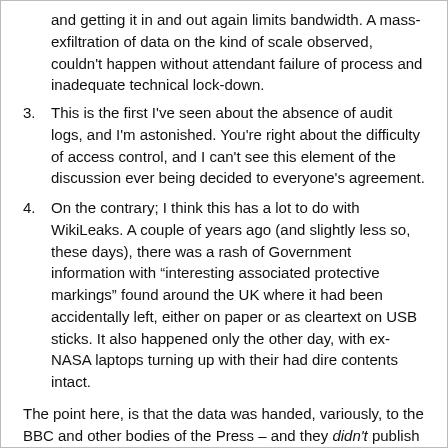and getting it in and out again limits bandwidth. A mass-exfiltration of data on the kind of scale observed, couldn't happen without attendant failure of process and inadequate technical lock-down.
3. This is the first I've seen about the absence of audit logs, and I'm astonished. You're right about the difficulty of access control, and I can't see this element of the discussion ever being decided to everyone's agreement.
4. On the contrary; I think this has a lot to do with WikiLeaks. A couple of years ago (and slightly less so, these days), there was a rash of Government information with “interesting associated protective markings” found around the UK where it had been accidentally left, either on paper or as cleartext on USB sticks. It also happened only the other day, with ex-NASA laptops turning up with their had dire contents intact.
The point here, is that the data was handed, variously, to the BBC and other bodies of the Press – and they didn't publish it,